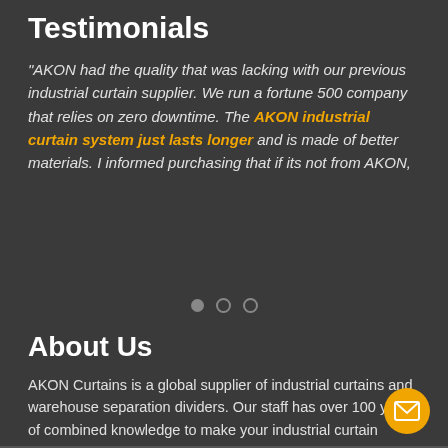Testimonials
"AKON had the quality that was lacking with our previous industrial curtain supplier. We run a fortune 500 company that relies on zero downtime. The AKON industrial curtain system just lasts longer and is made of better materials. I informed purchasing that if its not from AKON,
About Us
AKON Curtains is a global supplier of industrial curtains and warehouse separation dividers. Our staff has over 100 years of combined knowledge to make your industrial curtain project a success. LEARN MORE ABOUT US